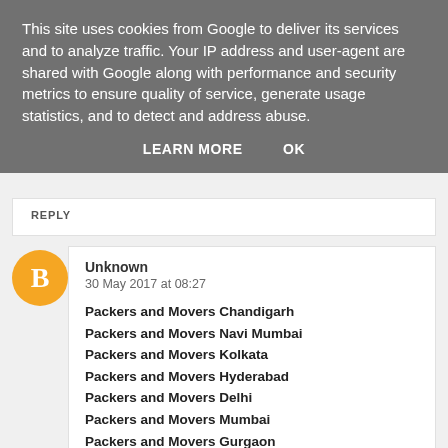This site uses cookies from Google to deliver its services and to analyze traffic. Your IP address and user-agent are shared with Google along with performance and security metrics to ensure quality of service, generate usage statistics, and to detect and address abuse.
LEARN MORE   OK
REPLY
Unknown
30 May 2017 at 08:27
Packers and Movers Chandigarh
Packers and Movers Navi Mumbai
Packers and Movers Kolkata
Packers and Movers Hyderabad
Packers and Movers Delhi
Packers and Movers Mumbai
Packers and Movers Gurgaon
REPLY